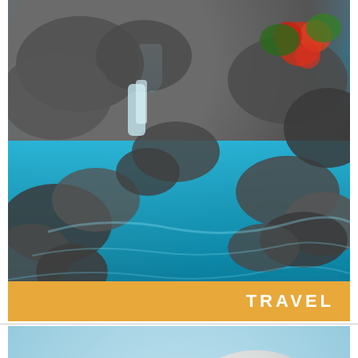[Figure (photo): A tropical pool or hot spring with bright turquoise water, surrounded by dark volcanic rocks, a small waterfall, and colorful red flowers and greenery in the background]
TRAVEL
[Figure (photo): A close-up photo of a handwritten note card that reads 'OH Happy Day!' in blue ink, with a blurred succulent plant and egg-shaped object in the background]
[Figure (screenshot): Advertisement banner for Beach Boys cruise. Text reads: KOKOMO / 2 Beach Boys / JOIN THE PRE-SALE NOW! / MARCH 3-8, 2[...] / MIAMI TO HARVEST CAYE & COSTA MAYA]